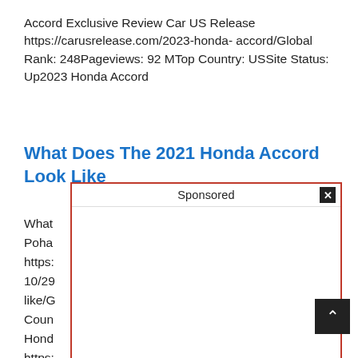Accord Exclusive Review Car US Release https://carusrelease.com/2023-honda-accord/Global Rank: 248Pageviews: 92 MTop Country: USSite Status: Up2023 Honda Accord
What Does The 2021 Honda Accord Look Like
[Figure (screenshot): Sponsored advertisement overlay box with red border, showing 'Sponsored' label and close button (X) in top-right corner]
What ... ke Poha... https: .020/ 10/29 ook- like/G Count 021 Hond https: accor ws: